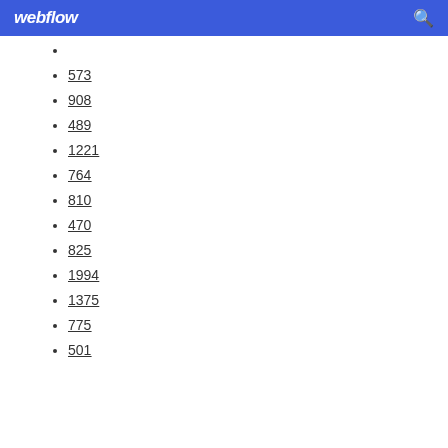webflow
573
908
489
1221
764
810
470
825
1994
1375
775
501